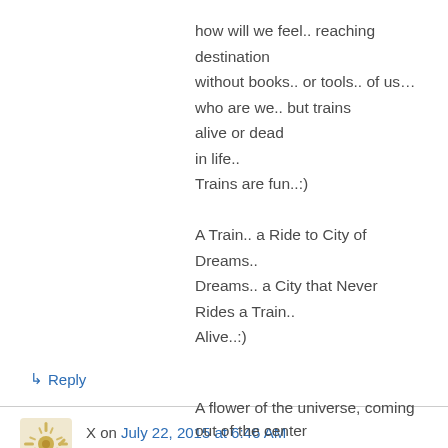how will we feel.. reaching destination
without books.. or tools.. of us...
who are we.. but trains
alive or dead
in life..
Trains are fun..:)
A Train.. a Ride to City of Dreams..
Dreams.. a City that Never
Rides a Train..
Alive..:)
↳ Reply
X on July 22, 2015 at 6:46 AM
A flower of the universe, coming out of the center